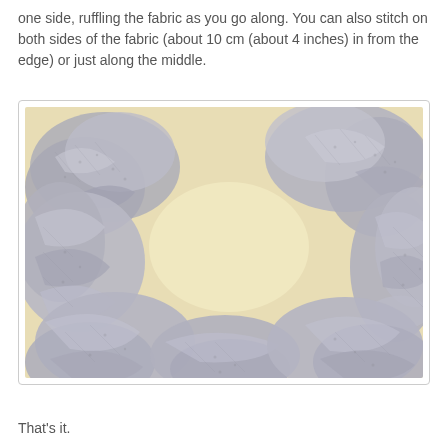one side, ruffling the fabric as you go along. You can also stitch on both sides of the fabric (about 10 cm (about 4 inches) in from the edge) or just along the middle.
[Figure (photo): Photograph of gray lace fabric ruffled and gathered in a circular/wreath shape on a cream/yellow background surface, showing the texture of the lace and the gathering technique.]
That's it.